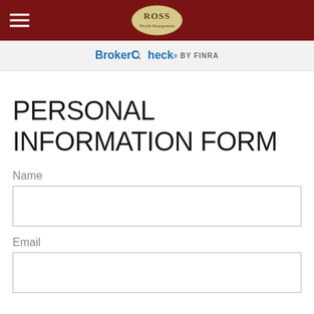ROSS Wealth Management — BrokerCheck by FINRA
PERSONAL INFORMATION FORM
Name
Email